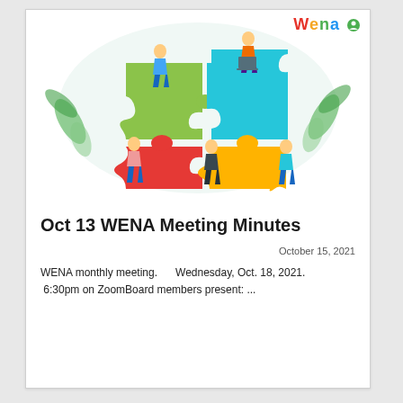[Figure (illustration): Colorful illustration of people sitting on and assembling large jigsaw puzzle pieces (green, teal, red/orange, yellow-orange), with tropical leaf decorations in the background.]
Oct 13 WENA Meeting Minutes
October 15, 2021
WENA monthly meeting.      Wednesday, Oct. 18, 2021.  6:30pm on ZoomBoard members present: ...